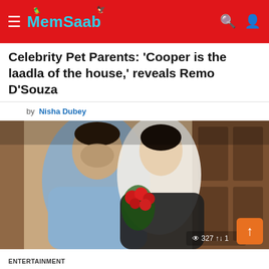MemSaab
Celebrity Pet Parents: ‘Cooper is the laadla of the house,’ reveals Remo D’Souza
by Nisha Dubey
[Figure (photo): A man and woman posing together, the woman holding red roses, warm indoor background with wooden doors]
327 ↕1
ENTERTAINMENT
Shalini Kanoor joins Rohit Dhawan’s film